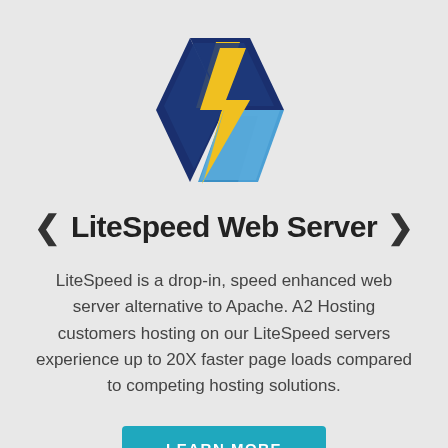[Figure (logo): LiteSpeed Web Server logo: dark blue and light blue diamond shape with yellow lightning bolt]
LiteSpeed Web Server
LiteSpeed is a drop-in, speed enhanced web server alternative to Apache. A2 Hosting customers hosting on our LiteSpeed servers experience up to 20X faster page loads compared to competing hosting solutions.
LEARN MORE